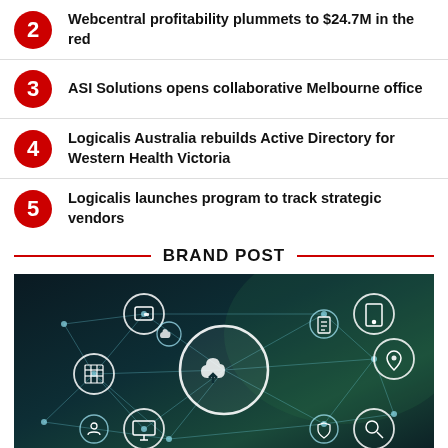2 Webcentral profitability plummets to $24.7M in the red
3 ASI Solutions opens collaborative Melbourne office
4 Logicalis Australia rebuilds Active Directory for Western Health Victoria
5 Logicalis launches program to track strategic vendors
BRAND POST
[Figure (photo): Technology network concept image showing cloud computing icons and connected digital devices on a dark teal background with glowing white circuit lines and geometric network patterns.]